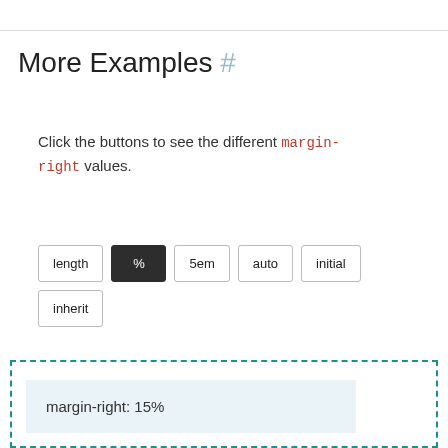More Examples #
Click the buttons to see the different margin-right values.
Buttons: length, %, 5em, auto, initial, inherit
margin-right: 15%